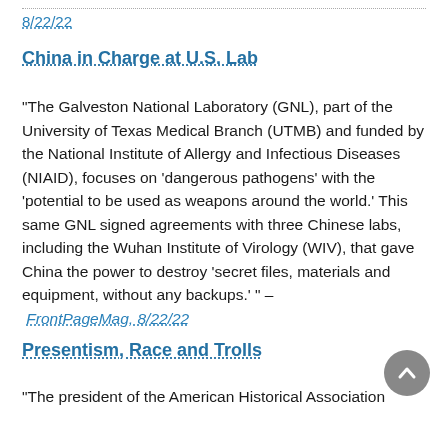8/22/22
China in Charge at U.S. Lab
"The Galveston National Laboratory (GNL), part of the University of Texas Medical Branch (UTMB) and funded by the National Institute of Allergy and Infectious Diseases (NIAID), focuses on 'dangerous pathogens' with the 'potential to be used as weapons around the world.' This same GNL signed agreements with three Chinese labs, including the Wuhan Institute of Virology (WIV), that gave China the power to destroy 'secret files, materials and equipment, without any backups.' " – FrontPageMag, 8/22/22
Presentism, Race and Trolls
"The president of the American Historical Association